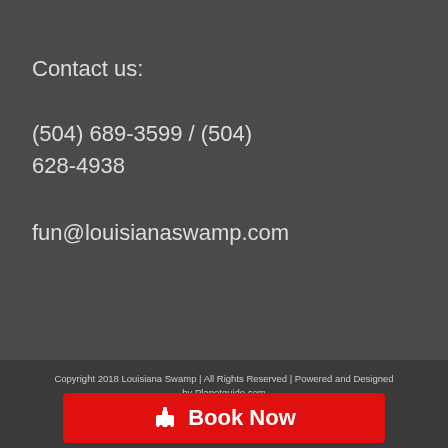Contact us:
(504) 689-3599 / (504) 628-4938
fun@louisianaswamp.com
Copyright 2018 Louisiana Swamp | All Rights Reserved | Powered and Designed by Planetguide.com
[Figure (other): Red Book Now button with boat/bell icon]